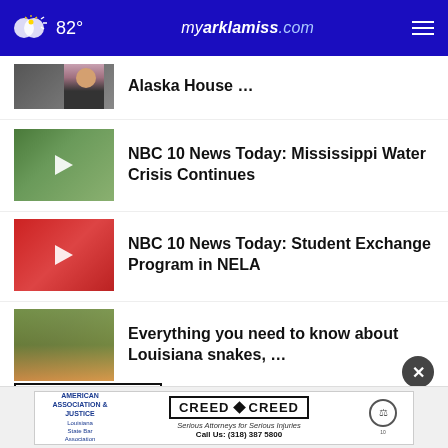82° myarklamiss.com
Alaska House …
NBC 10 News Today: Mississippi Water Crisis Continues
NBC 10 News Today: Student Exchange Program in NELA
Everything you need to know about Louisiana snakes, …
More Stories ›